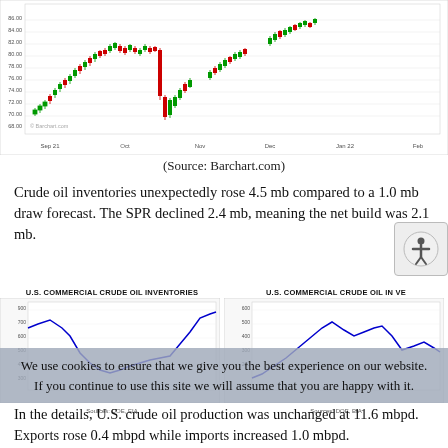[Figure (continuous-plot): Candlestick chart of oil prices from approximately Sep 21 to Feb, showing price range ~62-86, with green/red candles. Source: Barchart.com]
(Source: Barchart.com)
Crude oil inventories unexpectedly rose 4.5 mb compared to a 1.0 mb draw forecast.  The SPR declined 2.4 mb, meaning the net build was 2.1 mb.
[Figure (continuous-plot): U.S. COMMERCIAL CRUDE OIL INVENTORIES line chart showing inventory levels over time, with a U-shaped trend. Source: DOE, EIA]
[Figure (continuous-plot): U.S. COMMERCIAL CRUDE OIL INVENTORIES (second chart, partial/cut off) line chart. Source: DOE, EIA]
In the details, U.S. crude oil production was unchanged at 11.6 mbpd.  Exports rose 0.4 mbpd while imports increased 1.0 mbpd.